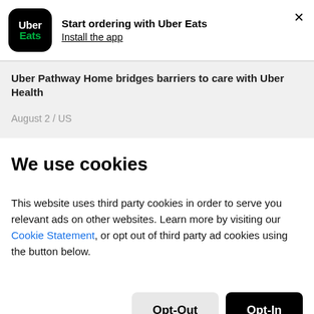[Figure (logo): Uber Eats app logo — black rounded square with 'Uber' in white and 'Eats' in green]
Start ordering with Uber Eats
Install the app
Uber Pathway Home bridges barriers to care with Uber Health
August 2 / US
We use cookies
This website uses third party cookies in order to serve you relevant ads on other websites. Learn more by visiting our Cookie Statement, or opt out of third party ad cookies using the button below.
Opt-Out
Opt-In